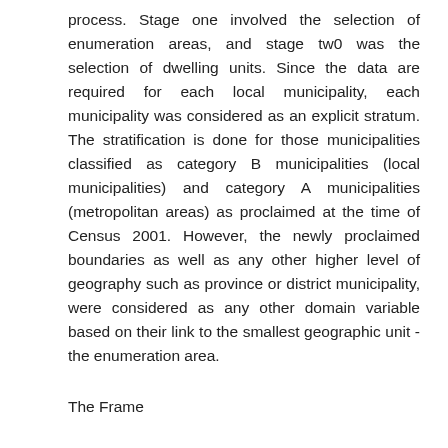process. Stage one involved the selection of enumeration areas, and stage two was the selection of dwelling units. Since the data are required for each local municipality, each municipality was considered as an explicit stratum. The stratification is done for those municipalities classified as category B municipalities (local municipalities) and category A municipalities (metropolitan areas) as proclaimed at the time of Census 2001. However, the newly proclaimed boundaries as well as any other higher level of geography such as province or district municipality, were considered as any other domain variable based on their link to the smallest geographic unit - the enumeration area.
The Frame